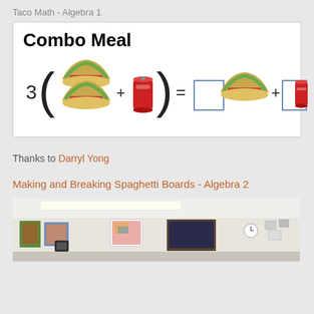Taco Math - Algebra 1
[Figure (illustration): Combo Meal math illustration showing the distributive property: 3(taco + soda can) = box taco + box soda can, with empty boxes representing coefficients]
Thanks to Darryl Yong
Making and Breaking Spaghetti Boards - Algebra 2
[Figure (photo): Classroom photo showing a room with fluorescent ceiling lights, colorful artwork on walls, a whiteboard, and a clock on the wall]